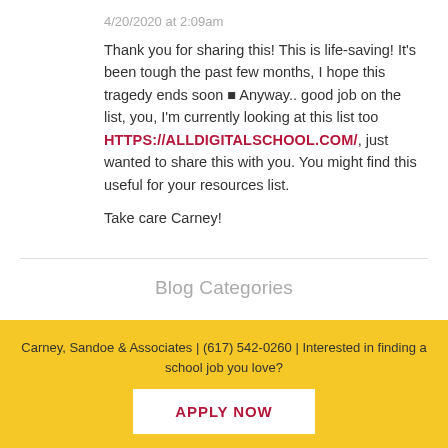4/20/2020 at 2:09am
Thank you for sharing this! This is life-saving! It’s been tough the past few months, I hope this tragedy ends soon ■ Anyway.. good job on the list, you, I’m currently looking at this list too HTTPS://ALLDIGITALSCHOOL.COM/, just wanted to share this with you. You might find this useful for your resources list.
Take care Carney!
Blog Categories
Carney, Sandoe & Associates | (617) 542-0260 | Interested in finding a school job you love?
APPLY NOW